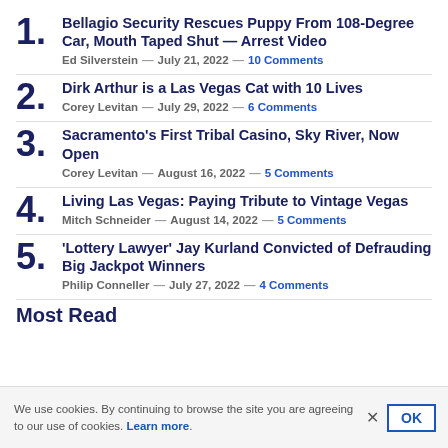1. Bellagio Security Rescues Puppy From 108-Degree Car, Mouth Taped Shut — Arrest Video
Ed Silverstein — July 21, 2022 — 10 Comments
2. Dirk Arthur is a Las Vegas Cat with 10 Lives
Corey Levitan — July 29, 2022 — 6 Comments
3. Sacramento's First Tribal Casino, Sky River, Now Open
Corey Levitan — August 16, 2022 — 5 Comments
4. Living Las Vegas: Paying Tribute to Vintage Vegas
Mitch Schneider — August 14, 2022 — 5 Comments
5. 'Lottery Lawyer' Jay Kurland Convicted of Defrauding Big Jackpot Winners
Philip Conneller — July 27, 2022 — 4 Comments
Most Read
We use cookies. By continuing to browse the site you are agreeing to our use of cookies. Learn more.